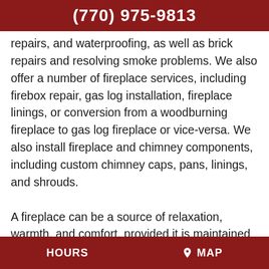(770) 975-9813
repairs, and waterproofing, as well as brick repairs and resolving smoke problems. We also offer a number of fireplace services, including firebox repair, gas log installation, fireplace linings, or conversion from a woodburning fireplace to gas log fireplace or vice-versa. We also install fireplace and chimney components, including custom chimney caps, pans, linings, and shrouds.

A fireplace can be a source of relaxation, warmth, and comfort, provided it is maintained properly. We take the safety of your family or business very seriously and always strive to exceed your expectations
HOURS   MAP